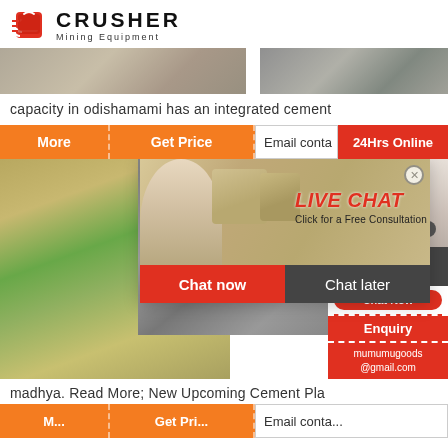CRUSHER Mining Equipment
[Figure (photo): Two mining site photos side by side, showing rock quarry scenes]
capacity in odishamami has an integrated cement
[Figure (screenshot): Website UI with orange buttons: More, Get Price, Email contact, 24Hrs Online; a live chat popup overlay with workers in hard hats, LIVE CHAT heading, Click for a Free Consultation, Chat now and Chat later buttons; a support agent photo on the right with Need questions & suggestion? Chat Now button, Enquiry section, and mumumugoods@gmail.com email]
madhya. Read More; New Upcoming Cement Pla
[Figure (screenshot): Bottom orange button row: More, Get Price, Email contact]